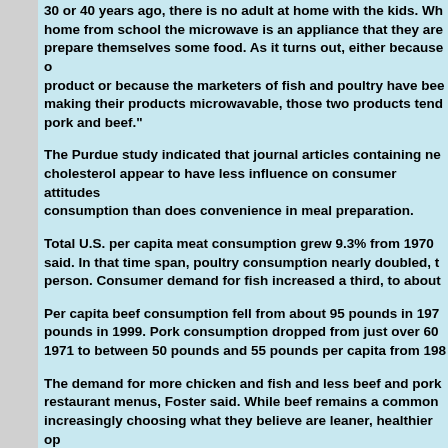30 or 40 years ago, there is no adult at home with the kids. When they come home from school the microwave is an appliance that they are using to prepare themselves some food. As it turns out, either because of the nature of the product or because the marketers of fish and poultry have been aggressive in making their products microwavable, those two products tend to win out over pork and beef."
The Purdue study indicated that journal articles containing news about cholesterol appear to have less influence on consumer attitudes and meat consumption than does convenience in meal preparation.
Total U.S. per capita meat consumption grew 9.3% from 1970 to 1999, Foster said. In that time span, poultry consumption nearly doubled, to 67 pounds per person. Consumer demand for fish increased a third, to about 15 pounds.
Per capita beef consumption fell from about 95 pounds in 1976 to about 68 pounds in 1999. Pork consumption dropped from just over 60 pounds per capita in 1971 to between 50 pounds and 55 pounds per capita from 1980 onward.
The demand for more chicken and fish and less beef and pork is reflected in restaurant menus, Foster said. While beef remains a common choice, people are increasingly choosing what they believe are leaner, healthier options.
"If you think about the menus of fast-food restaurants, years ago it was burger at the fast- food joint," Foster said. "Now it's a choice between a burger, a fish sandwich, a chicken salad, a chicken sandwich, and those sorts of things."